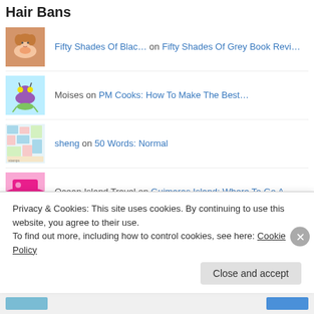Hair Bans
Fifty Shades Of Blac… on Fifty Shades Of Grey Book Revi…
Moises on PM Cooks: How To Make The Best…
sheng on 50 Words: Normal
Ocean Island Travel on Guimaras Island: Where To Go A…
abhishekchhonkar on Kafka On The Shore Book Review…
Privacy & Cookies: This site uses cookies. By continuing to use this website, you agree to their use.
To find out more, including how to control cookies, see here: Cookie Policy
Close and accept